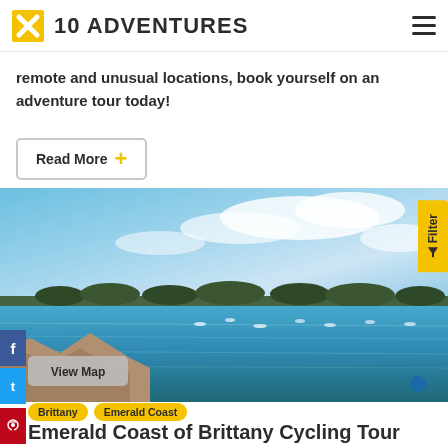10 ADVENTURES
remote and unusual locations, book yourself on an adventure tour today!
Read More +
[Figure (photo): Coastal scene in Brittany, France showing blue sky with white clouds, calm sea water, scattered sailboats, and a treeline on the distant shore with rocky foreground]
View Map
Filter
Brittany   Emerald Coast
Emerald Coast of Brittany Cycling Tour